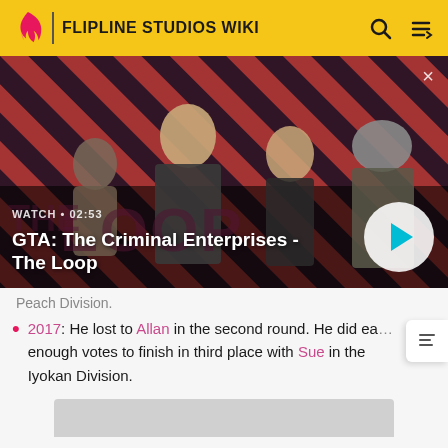FLIPLINE STUDIOS WIKI
[Figure (screenshot): Video thumbnail for 'GTA: The Criminal Enterprises - The Loop' showing four characters against a red diagonal striped background. Text overlay: WATCH • 02:53. A circular play button is visible on the right.]
GTA: The Criminal Enterprises - The Loop
Peach Division.
2017: He lost to Allan in the second round. He did earn enough votes to finish in third place with Sue in the Iyokan Division.